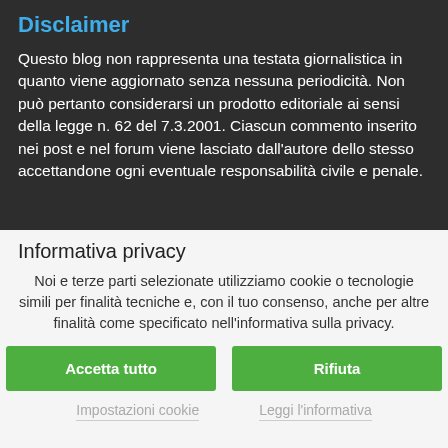Disclaimer
Questo blog non rappresenta una testata giornalistica in quanto viene aggiornato senza nessuna periodicità. Non può pertanto considerarsi un prodotto editoriale ai sensi della legge n. 62 del 7.3.2001. Ciascun commento inserito nei post e nel forum viene lasciato dall'autore dello stesso accettandone ogni eventuale responsabilità civile e penale.
Informativa privacy
Noi e terze parti selezionate utilizziamo cookie o tecnologie simili per finalità tecniche e, con il tuo consenso, anche per altre finalità come specificato nell'informativa sulla privacy.
Accetta tutto
Rifiuta
Impostazioni cookie
Leggi l'informativa